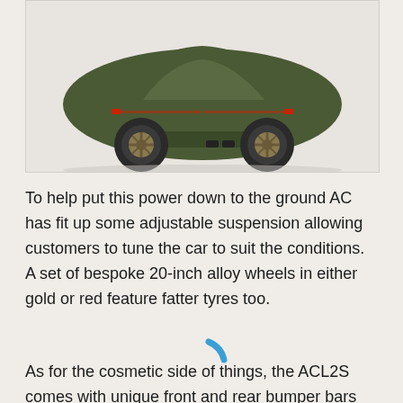[Figure (photo): Rear three-quarter view of a dark olive/military green sports car (ACL2S) with bronze/gold alloy wheels, wide body kit, quad exhaust tips, and red rear light strip, photographed against a white background.]
To help put this power down to the ground AC has fit up some adjustable suspension allowing customers to tune the car to suit the conditions. A set of bespoke 20-inch alloy wheels in either gold or red feature fatter tyres too.
[Figure (other): Blue loading spinner arc icon (partial circle), indicating a loading state.]
As for the cosmetic side of things, the ACL2S comes with unique front and rear bumper bars